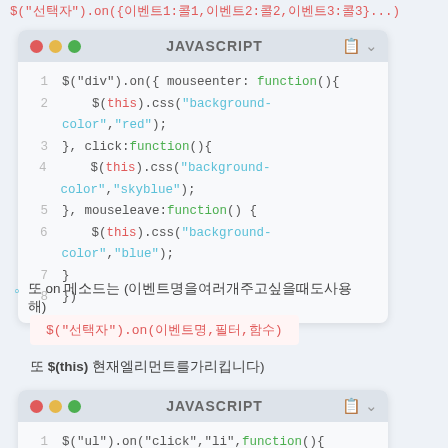$("선택자").on({이벤트1:콜1,이벤트2:콜2,이벤트3:콜3}...)
[Figure (screenshot): JavaScript code editor window showing jQuery .on() method with mouseenter, click, and mouseleave event handlers using $(this).css()]
또 on 메소드는 (이벤트명을여러개주고싶을때도사용해)
$("선택자").on(이벤트명,필터,함수)
또 $(this) 현재엘리먼트를가리킵니다)
[Figure (screenshot): JavaScript code editor window showing jQuery $("ul").on("click","li",function(){ on line 1]